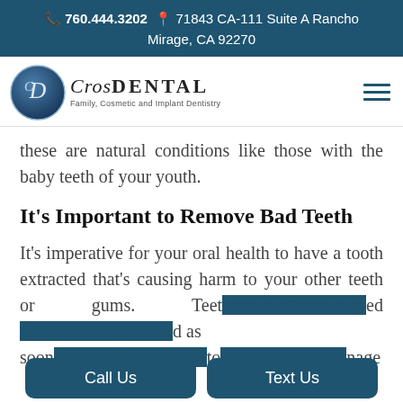📞 760.444.3202 📍 71843 CA-111 Suite A Rancho Mirage, CA 92270
[Figure (logo): CrosDental logo with blue circle emblem and text 'CrosDental Family, Cosmetic and Implant Dentistry']
these are natural conditions like those with the baby teeth of your youth.
It's Important to Remove Bad Teeth
It's imperative for your oral health to have a tooth extracted that's causing harm to your other teeth or gums. Teeth … as soon … to … nage